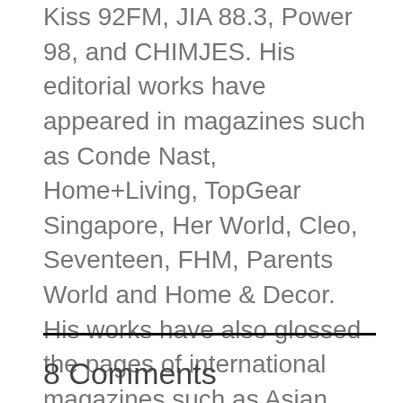Kiss 92FM, JIA 88.3, Power 98, and CHIMJES. His editorial works have appeared in magazines such as Conde Nast, Home+Living, TopGear Singapore, Her World, Cleo, Seventeen, FHM, Parents World and Home & Decor. His works have also glossed the pages of international magazines such as Asian Photography and Digital Photography(UK). View all posts by ivanjoshualoh
8 Comments